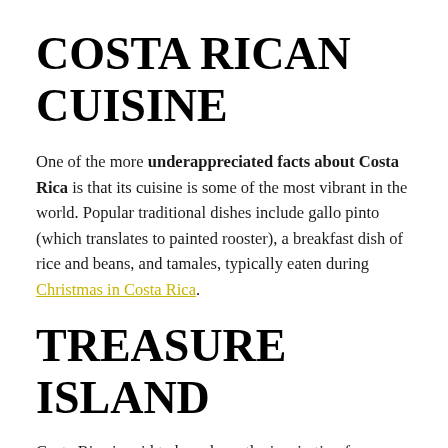COSTA RICAN CUISINE
One of the more underappreciated facts about Costa Rica is that its cuisine is some of the most vibrant in the world. Popular traditional dishes include gallo pinto (which translates to painted rooster), a breakfast dish of rice and beans, and tamales, typically eaten during Christmas in Costa Rica.
TREASURE ISLAND
Costa Rica is said to have been the inspiration for Robert Louis Stevenson's famous novel Treasure Island. Stevenson's inspiration was likely drawn from the pirates who would bury treasure on Cocos Island, a paradise that allowed them to lay...